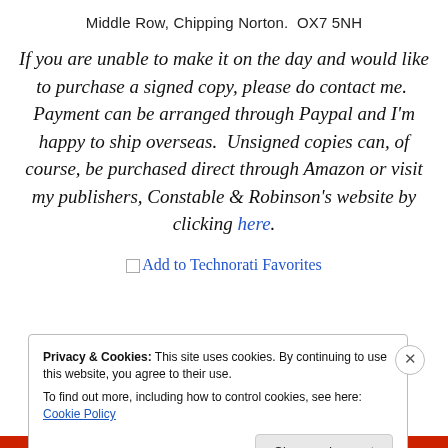Middle Row, Chipping Norton.  OX7 5NH
If you are unable to make it on the day and would like to purchase a signed copy, please do contact me.  Payment can be arranged through Paypal and I'm happy to ship overseas.  Unsigned copies can, of course, be purchased direct through Amazon or visit my publishers, Constable & Robinson's website by clicking here.
[Figure (other): Add to Technorati Favorites button/image link]
Privacy & Cookies: This site uses cookies. By continuing to use this website, you agree to their use.
To find out more, including how to control cookies, see here: Cookie Policy
Close and accept